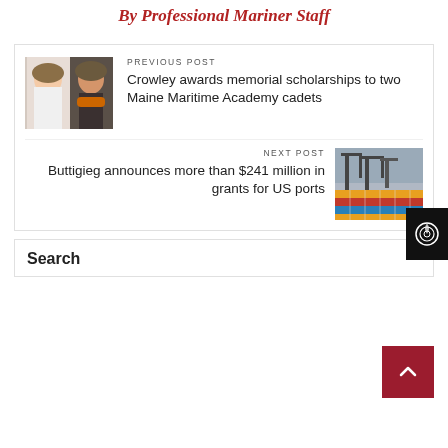By Professional Mariner Staff
PREVIOUS POST
Crowley awards memorial scholarships to two Maine Maritime Academy cadets
NEXT POST
Buttigieg announces more than $241 million in grants for US ports
Search